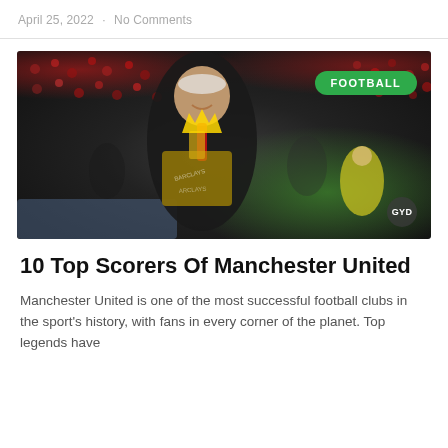April 25, 2022 · No Comments
[Figure (photo): Man holding a Premier League trophy (with golden crown) in a stadium, wearing a black suit and red tie, smiling. Crowd visible in background. FOOTBALL badge top-right. GYD watermark bottom-right.]
10 Top Scorers Of Manchester United
Manchester United is one of the most successful football clubs in the sport's history, with fans in every corner of the planet. Top legends have